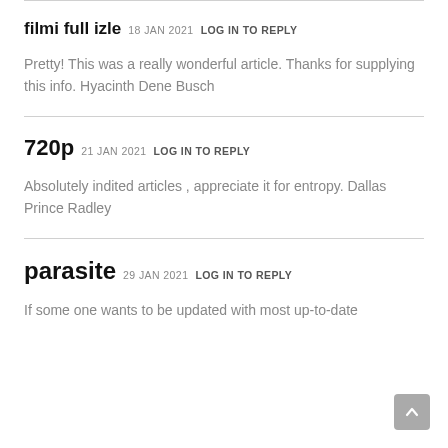filmi full izle 18 JAN 2021 LOG IN TO REPLY
Pretty! This was a really wonderful article. Thanks for supplying this info. Hyacinth Dene Busch
720p 21 JAN 2021 LOG IN TO REPLY
Absolutely indited articles , appreciate it for entropy. Dallas Prince Radley
parasite 29 JAN 2021 LOG IN TO REPLY
If some one wants to be updated with most up-to-date